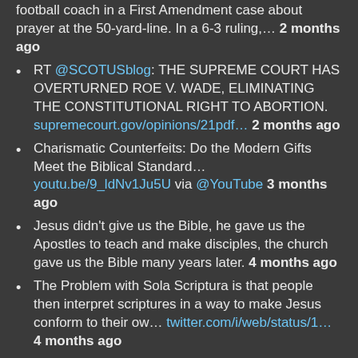... with a high school football coach in a First Amendment case about prayer at the 50-yard-line. In a 6-3 ruling,... 2 months ago
RT @SCOTUSblog: THE SUPREME COURT HAS OVERTURNED ROE V. WADE, ELIMINATING THE CONSTITUTIONAL RIGHT TO ABORTION. supremecourt.gov/opinions/21pdf... 2 months ago
Charismatic Counterfeits: Do the Modern Gifts Meet the Biblical Standard... youtu.be/9_ldNv1Ju5U via @YouTube 3 months ago
Jesus didn't give us the Bible, he gave us the Apostles to teach and make disciples, the church gave us the Bible many years later. 4 months ago
The Problem with Sola Scriptura is that people then interpret scriptures in a way to make Jesus conform to their ow... twitter.com/i/web/status/1... 4 months ago
Follow @tonynobles